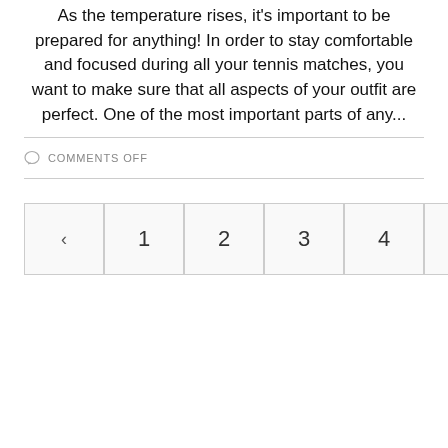As the temperature rises, it's important to be prepared for anything! In order to stay comfortable and focused during all your tennis matches, you want to make sure that all aspects of your outfit are perfect. One of the most important parts of any...
COMMENTS OFF
◀ 1 2 3 4 5 6 7 ▶